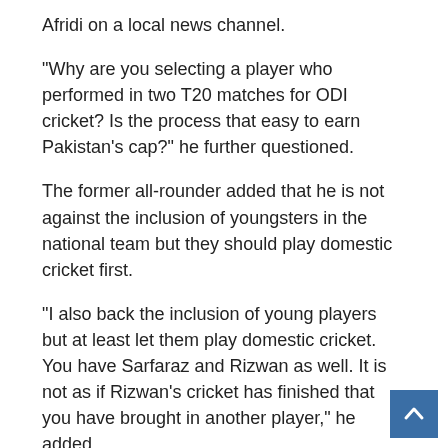Afridi on a local news channel.
“Why are you selecting a player who performed in two T20 matches for ODI cricket? Is the process that easy to earn Pakistan’s cap?” he further questioned.
The former all-rounder added that he is not against the inclusion of youngsters in the national team but they should play domestic cricket first.
“I also back the inclusion of young players but at least let them play domestic cricket. You have Sarfaraz and Rizwan as well. It is not as if Rizwan’s cricket has finished that you have brought in another player,” he added.
Afridi also backed wicketkeeper-batter Mohammad Rizwan, who has not been at his best in ODI cricket in